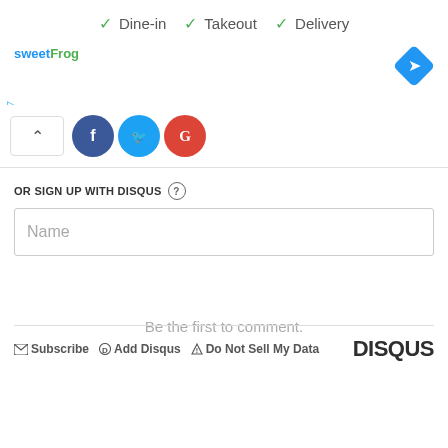[Figure (screenshot): Ad banner with sweetFrog logo showing Dine-in, Takeout, Delivery options with checkmarks and a blue diamond navigation icon]
[Figure (infographic): Social login row with chevron/collapse button, Facebook (blue circle), Twitter (blue circle), and Google (red circle) icons]
OR SIGN UP WITH DISQUS ?
Name
Be the first to comment.
Subscribe  Add Disqus  Do Not Sell My Data  DISQUS